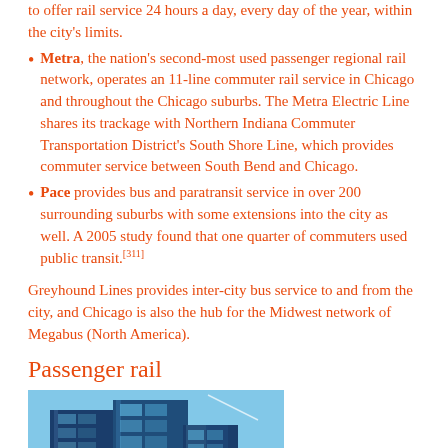to offer rail service 24 hours a day, every day of the year, within the city's limits.
Metra, the nation's second-most used passenger regional rail network, operates an 11-line commuter rail service in Chicago and throughout the Chicago suburbs. The Metra Electric Line shares its trackage with Northern Indiana Commuter Transportation District's South Shore Line, which provides commuter service between South Bend and Chicago.
Pace provides bus and paratransit service in over 200 surrounding suburbs with some extensions into the city as well. A 2005 study found that one quarter of commuters used public transit.[311]
Greyhound Lines provides inter-city bus service to and from the city, and Chicago is also the hub for the Midwest network of Megabus (North America).
Passenger rail
[Figure (photo): Photo of Chicago city buildings/skyscrapers with blue glass facades against a blue sky, with a bridge in the foreground.]